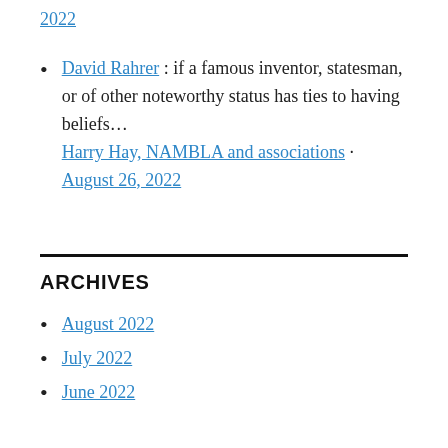2022
David Rahrer : if a famous inventor, statesman, or of other noteworthy status has ties to having beliefs… Harry Hay, NAMBLA and associations · August 26, 2022
ARCHIVES
August 2022
July 2022
June 2022